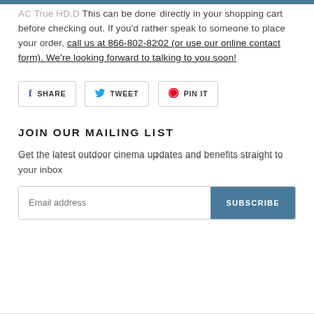AC True HD.D This can be done directly in your shopping cart before checking out. If you'd rather speak to someone to place your order, call us at 866-802-8202 (or use our online contact form). We're looking forward to talking to you soon!
[Figure (other): Social sharing buttons: SHARE (Facebook), TWEET (Twitter), PIN IT (Pinterest)]
JOIN OUR MAILING LIST
Get the latest outdoor cinema updates and benefits straight to your inbox